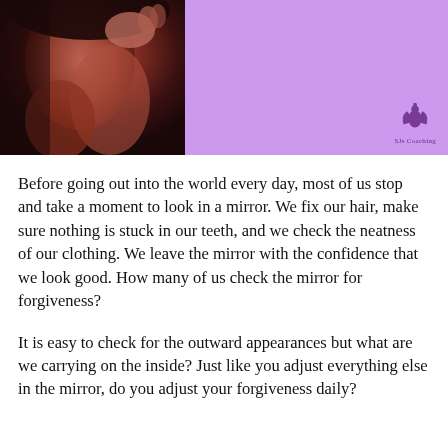[Figure (photo): Left half shows a dark-toned photo of a person's arm/shoulder against a dark background. Right half is a solid lavender/purple rectangle with a small coaching logo in the bottom right corner.]
Before going out into the world every day, most of us stop and take a moment to look in a mirror. We fix our hair, make sure nothing is stuck in our teeth, and we check the neatness of our clothing.  We leave the mirror with the confidence that we look good.  How many of us check the mirror for forgiveness?
It is easy to check for the outward appearances but what are we carrying on the inside?  Just like you adjust everything else in the mirror, do you adjust your forgiveness daily?